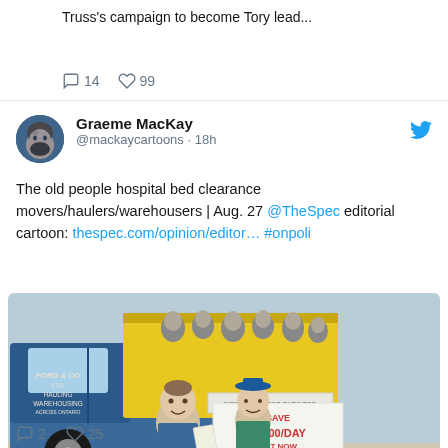Truss's campaign to become Tory lead...
💬 14  🤍 99
Graeme MacKay @mackaycartoons · 18h
The old people hospital bed clearance movers/haulers/warehousers | Aug. 27 @TheSpec editorial cartoon: thespec.com/opinion/editor… #onpoli
[Figure (illustration): Editorial cartoon showing two men in work aprons standing in front of a blue dump truck labelled 'FORD & CO LTC HAULING WAREHOUSING'. The truck's bed is filled with elderly people. A banner reads 'SAVE $1800 A DAY ACT NOW' and a sign on the truck reads 'WE'RE OPEN FOR BUSINESS'.]
💬 2  🤍 25